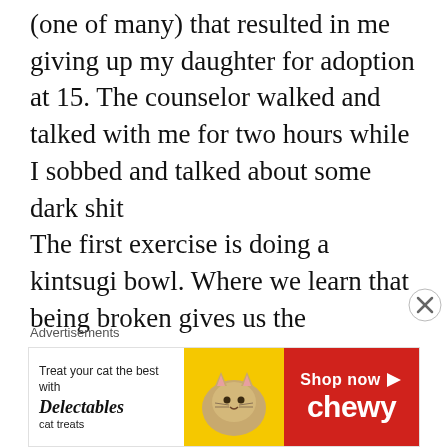(one of many) that resulted in me giving up my daughter for adoption at 15. The counselor walked and talked with me for two hours while I sobbed and talked about some dark shit
The first exercise is doing a kintsugi bowl. Where we learn that being broken gives us the opportunity to come back even more beautiful and strong than ever.
That was so moving
There is a photo shoot (they don't use their makeup) in a studio with
Advertisements
[Figure (other): Advertisement banner: 'Treat your cat the best with Delectables cat treats' with a cat image and yellow/red Chewy branding with 'Shop now' button]